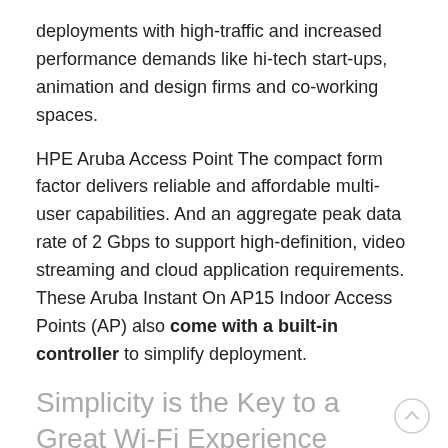deployments with high-traffic and increased performance demands like hi-tech start-ups, animation and design firms and co-working spaces.
HPE Aruba Access Point The compact form factor delivers reliable and affordable multi-user capabilities. And an aggregate peak data rate of 2 Gbps to support high-definition, video streaming and cloud application requirements. These Aruba Instant On AP15 Indoor Access Points (AP) also come with a built-in controller to simplify deployment.
Simplicity is the Key to a Great Wi-Fi Experience
The Aruba Instant On AP15 Indoor Access Points are built with premium hardware and software quality that’s as reliable and coming from a trusted vendor. Effortless set-up right out of the box – in the palm of your hand.